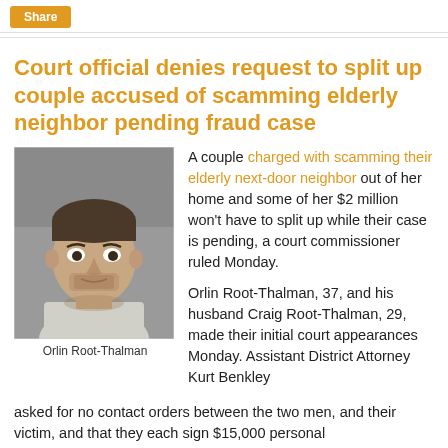Share
Court official denies request to split up couple accused of scamming elderly neighbor pending fraud case
[Figure (photo): Mugshot photo of Orlin Root-Thalman, a man with short dark hair and a light gray shirt]
Orlin Root-Thalman
A couple charged with scamming their elderly next-door neighbor out of her home and some of her $2 million won't have to split up while their case is pending, a court commissioner ruled Monday.
Orlin Root-Thalman, 37, and his husband Craig Root-Thalman, 29, made their initial court appearances Monday. Assistant District Attorney Kurt Benkley asked for no contact orders between the two men, and their victim, and that they each sign $15,000 personal